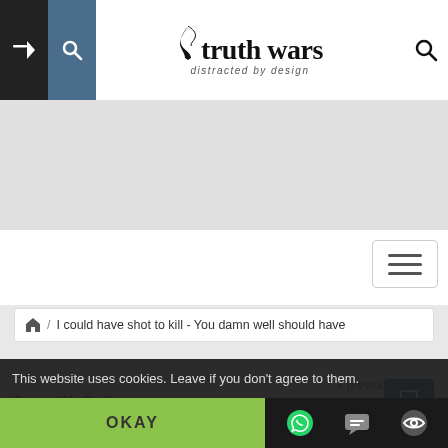[Figure (screenshot): Website header for 'truth wars - distracted by design' with black and blue icon panels on the left, large serif logo in center, and search icon on right]
truth wars distracted by design
I could have shot to kill - You damn well should have
« previous next »
Pages: [1]  Go Down
I could have shot to kill - You damn well should
This website uses cookies. Leave if you don't agree to them.
OKAY